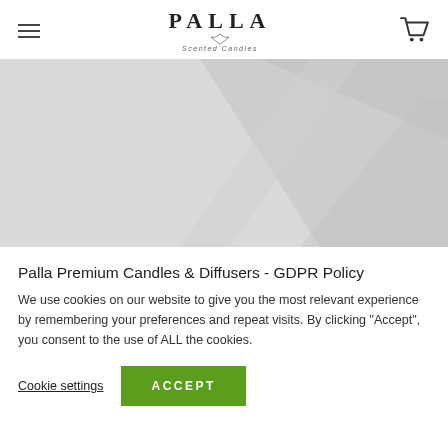PALLA Scented Candles [logo with hamburger menu and cart icon]
[Figure (photo): Large light grey hero image with subtle diagonal geometric shapes/reflections, used as a website banner image for Palla Scented Candles.]
Palla Premium Candles & Diffusers - GDPR Policy
We use cookies on our website to give you the most relevant experience by remembering your preferences and repeat visits. By clicking "Accept", you consent to the use of ALL the cookies.
Cookie settings  ACCEPT